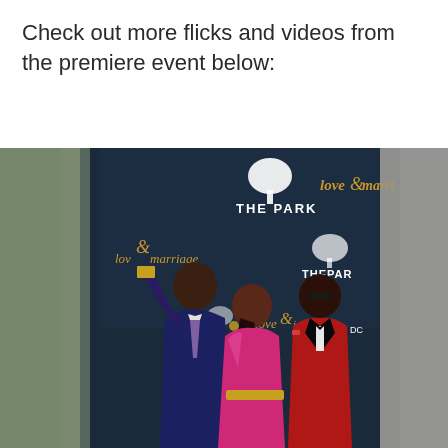Check out more flicks and videos from the premiere event below:
[Figure (photo): Three people posing for a selfie at a red carpet premiere event. A tall man in a blue suit holds up a gold phone taking a selfie on the left, a woman in a shiny pink dress stands in the center, and a man in a red velvet blazer with a black bow tie stands on the right. Behind them is a step-and-repeat banner showing logos for 'The Park' and 'love&marriage DC'.]